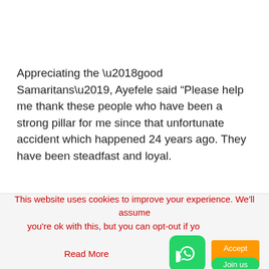Appreciating the ‘good Samaritans’, Ayefele said “Please help me thank these people who have been a strong pillar for me since that unfortunate accident which happened 24 years ago. They have been steadfast and loyal.
This website uses cookies to improve your experience. We’ll assume you’re ok with this, but you can opt-out if yo…
Read More